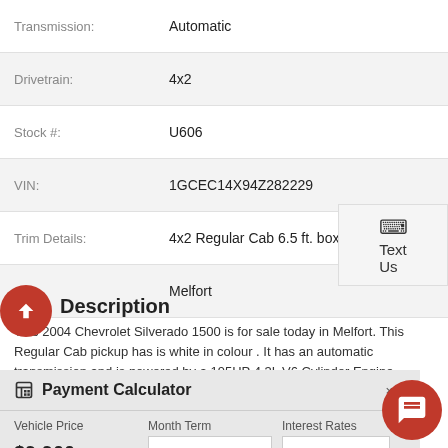| Label | Value |
| --- | --- |
| Transmission: | Automatic |
| Drivetrain: | 4x2 |
| Stock #: | U606 |
| VIN: | 1GCEC14X94Z282229 |
| Trim Details: | 4x2 Regular Cab 6.5 ft. box |
| City: | Melfort |
Description
This 2004 Chevrolet Silverado 1500 is for sale today in Melfort. This Regular Cab pickup has is white in colour . It has an automatic transmission and is powered by a 195HP 4.3L V6 Cylinder Engine.

At Cheyenne GM, customers are our top priority, we are .....Read More
Payment Calculator
| Vehicle Price | Month Term | Interest Rates |
| --- | --- | --- |
| $9,900 |  | % |